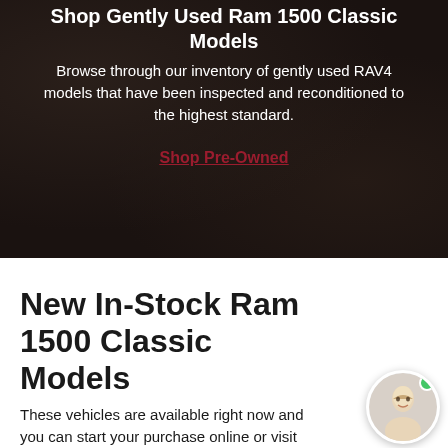Shop Gently Used Ram 1500 Classic Models
Browse through our inventory of gently used RAV4 models that have been inspected and reconditioned to the highest standard.
Shop Pre-Owned
New In-Stock Ram 1500 Classic Models
These vehicles are available right now and you can start your purchase online or visit us for a